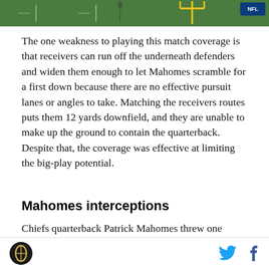[Figure (photo): Green football field photo strip at the top of the page, showing part of a football field with yellow goal post visible and NFL logo in upper right corner]
The one weakness to playing this match coverage is that receivers can run off the underneath defenders and widen them enough to let Mahomes scramble for a first down because there are no effective pursuit lanes or angles to take. Matching the receivers routes puts them 12 yards downfield, and they are unable to make up the ground to contain the quarterback. Despite that, the coverage was effective at limiting the big-play potential.
Mahomes interceptions
Chiefs quarterback Patrick Mahomes threw one interception against cover-3 buzz because the 49ers